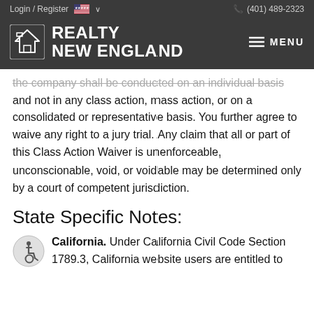Login / Register  (401) 489-2323
[Figure (logo): Realty New England logo with house icon and MENU hamburger icon]
the company shall be conducted on an individual basis and not in any class action, mass action, or on a consolidated or representative basis. You further agree to waive any right to a jury trial. Any claim that all or part of this Class Action Waiver is unenforceable, unconscionable, void, or voidable may be determined only by a court of competent jurisdiction.
State Specific Notes:
California. Under California Civil Code Section 1789.3, California website users are entitled to